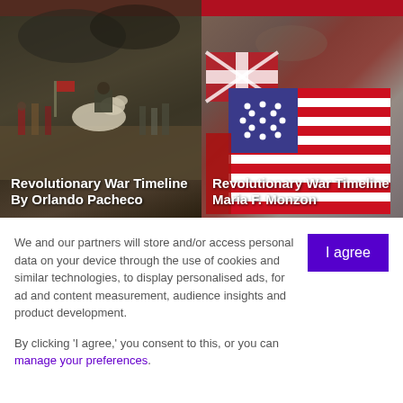[Figure (illustration): Revolutionary War battle scene painting with soldiers on horseback, left card]
Revolutionary War Timeline By Orlando Pacheco
[Figure (illustration): Revolutionary War era American flag (Betsy Ross style) with British flag, right card]
Revolutionary War Timeline Maria F. Monzon
We and our partners will store and/or access personal data on your device through the use of cookies and similar technologies, to display personalised ads, for ad and content measurement, audience insights and product development.
By clicking 'I agree,' you consent to this, or you can manage your preferences.